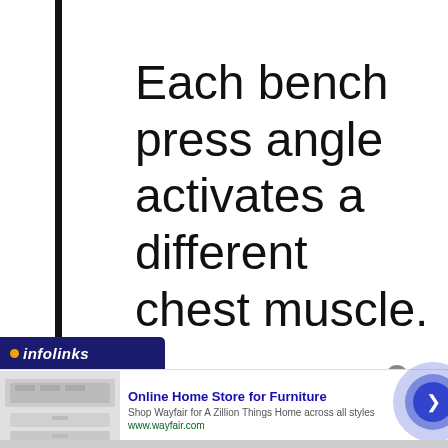Each bench press angle activates a different chest muscle.
Old School Labs.
[Figure (screenshot): Infolinks ad bar with logo and Wayfair advertisement banner showing furniture image, ad title 'Online Home Store for Furniture', description text, URL, and blue arrow button]